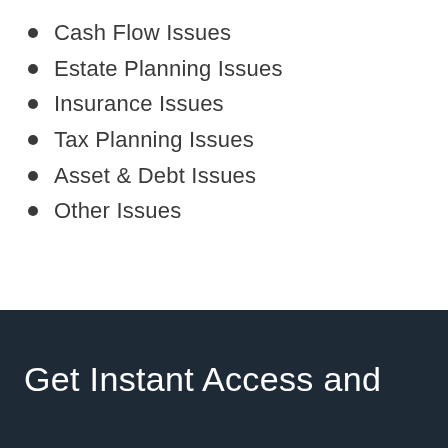Cash Flow Issues
Estate Planning Issues
Insurance Issues
Tax Planning Issues
Asset & Debt Issues
Other Issues
Updated for 11/15/2021
Get Instant Access and